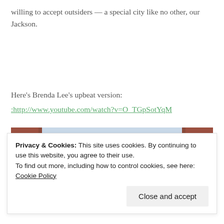willing to accept outsiders — a special city like no other, our Jackson.
Here's Brenda Lee's upbeat version:
:http://www.youtube.com/watch?v=O_TGpSotYqM
[Figure (photo): Upward view between two brick buildings showing light blue sky]
Privacy & Cookies: This site uses cookies. By continuing to use this website, you agree to their use. To find out more, including how to control cookies, see here: Cookie Policy
Close and accept